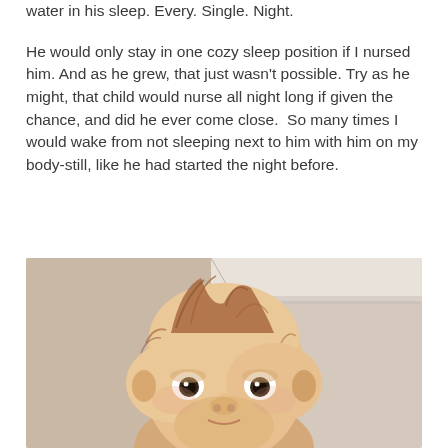water in his sleep. Every. Single. Night.
He would only stay in one cozy sleep position if I nursed him. And as he grew, that just wasn't possible. Try as he might, that child would nurse all night long if given the chance, and did he ever come close.  So many times I would wake from not sleeping next to him with him on my body-still, like he had started the night before.
[Figure (photo): Close-up photo of a baby/toddler with reddish-brown wispy hair, looking directly at the camera with dark eyes. The background shows a cream/beige wall and what appears to be white crown molding.]